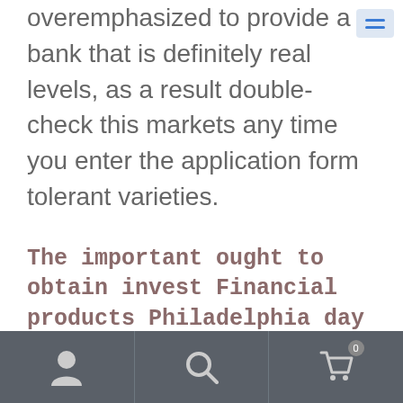overemphasized to provide a bank that is definitely real levels, as a result double-check this markets any time you enter the application form tolerant varieties.
The important ought to obtain invest Financial products Philadelphia day
[Figure (other): Mobile app bottom navigation bar with user/profile icon, search icon, and shopping cart icon with badge showing 0]